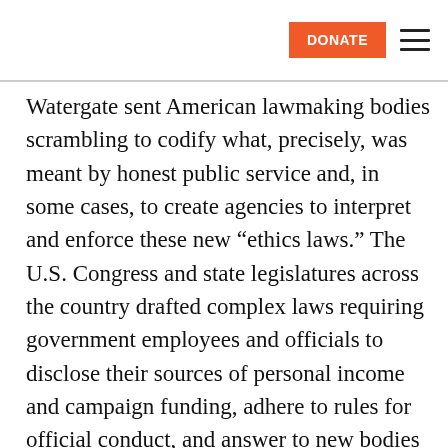DONATE ≡
Watergate sent American lawmaking bodies scrambling to codify what, precisely, was meant by honest public service and, in some cases, to create agencies to interpret and enforce these new “ethics laws.” The U.S. Congress and state legislatures across the country drafted complex laws requiring government employees and officials to disclose their sources of personal income and campaign funding, adhere to rules for official conduct, and answer to new bodies created to oversee those rules. Only one state — Hawaii, in 1968 — had established an ethics commission prior to the scandal. By 1979, 22 other states